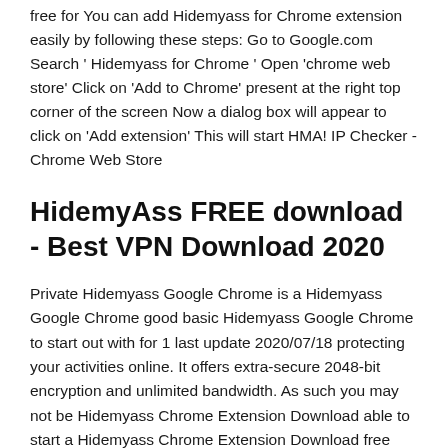free for You can add Hidemyass for Chrome extension easily by following these steps: Go to Google.com Search ' Hidemyass for Chrome ' Open 'chrome web store' Click on 'Add to Chrome' present at the right top corner of the screen Now a dialog box will appear to click on 'Add extension' This will start HMA! IP Checker - Chrome Web Store
HidemyAss FREE download - Best VPN Download 2020
Private Hidemyass Google Chrome is a Hidemyass Google Chrome good basic Hidemyass Google Chrome to start out with for 1 last update 2020/07/18 protecting your activities online. It offers extra-secure 2048-bit encryption and unlimited bandwidth. As such you may not be Hidemyass Chrome Extension Download able to start a Hidemyass Chrome Extension Download free trial even with the 1 last update 2020/06/21 modified app. For more consistent results, try